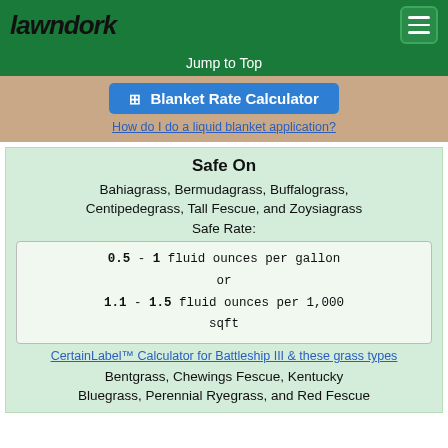lawndork
Jump to Top
[Figure (screenshot): Blue button labeled 'Blanket Rate Calculator' with grid icon]
How do I do a liquid blanket application?
Safe On
Bahiagrass, Bermudagrass, Buffalograss, Centipedegrass, Tall Fescue, and Zoysiagrass
Safe Rate:
0.5 - 1 fluid ounces per gallon
or
1.1 - 1.5 fluid ounces per 1,000 sqft
CertainLabel™ Calculator for Battleship III & these grass types
Bentgrass, Chewings Fescue, Kentucky Bluegrass, Perennial Ryegrass, and Red Fescue